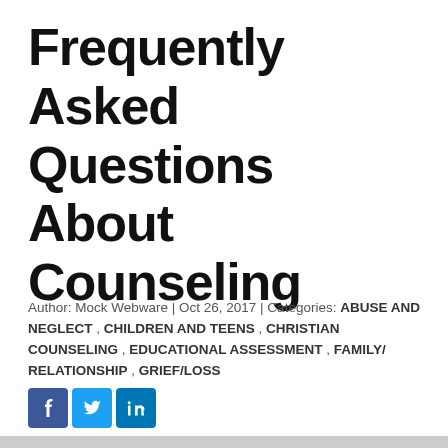Frequently Asked Questions About Counseling
Author: Mock Webware | Oct 26, 2017 | Categories: ABUSE AND NEGLECT , CHILDREN AND TEENS , CHRISTIAN COUNSELING , EDUCATIONAL ASSESSMENT , FAMILY/ RELATIONSHIP , GRIEF/LOSS
[Figure (illustration): Social media share buttons: Facebook (blue), Twitter (light blue), LinkedIn (dark blue)]
[Figure (photo): Partial photo of people in a counseling session, cropped at bottom of page]